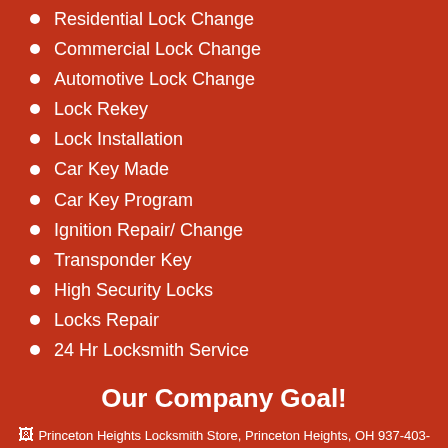Residential Lock Change
Commercial Lock Change
Automotive Lock Change
Lock Rekey
Lock Installation
Car Key Made
Car Key Program
Ignition Repair/ Change
Transponder Key
High Security Locks
Locks Repair
24 Hr Locksmith Service
Our Company Goal!
[Figure (photo): Princeton Heights Locksmith Store, Princeton Heights, OH 937-403-0080]
[Figure (other): White content box with scroll-to-top button]